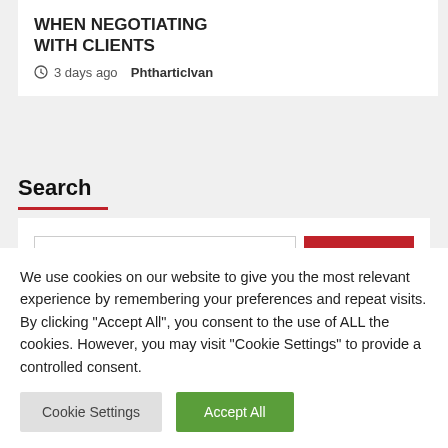WHEN NEGOTIATING WITH CLIENTS
3 days ago  Phtharticlvan
Search
[Figure (screenshot): Search input box with red Search button]
We use cookies on our website to give you the most relevant experience by remembering your preferences and repeat visits. By clicking "Accept All", you consent to the use of ALL the cookies. However, you may visit "Cookie Settings" to provide a controlled consent.
Cookie Settings  Accept All